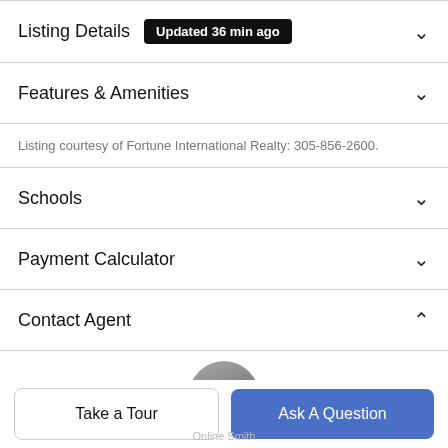Listing Details  Updated 36 min ago
Features & Amenities
Listing courtesy of Fortune International Realty: 305-856-2600.
Schools
Payment Calculator
Contact Agent
[Figure (photo): Circular agent profile photo, partially visible at bottom of page]
Take a Tour
Ask A Question